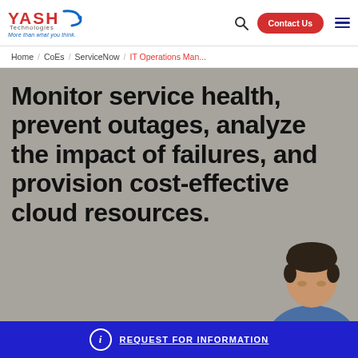[Figure (logo): YASH Technologies logo with swoosh and tagline 'More than what you think.']
Contact Us | Search | Menu navigation
Home / CoEs / ServiceNow / IT Operations Man...
Monitor service health, prevent outages, analyze the impact of failures, and provision cost-effective cloud resources.
[Figure (photo): Person with dark hair looking down, partially visible at bottom right of hero section]
REQUEST FOR INFORMATION